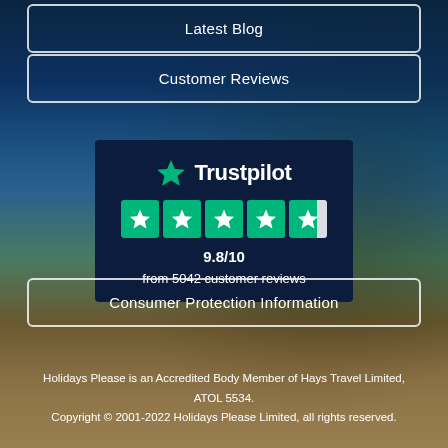Latest Blog
Customer Reviews
[Figure (logo): Trustpilot logo with green star and white text, five green star rating boxes, score 9.8/10 from 5042 customer reviews]
Consumer Protection Information
Holidays Please is an Accredited Body Member of Hays Travel Limited, ATOL 5534. Copyright © 2001-2022 Holidays Please Limited, all rights reserved.